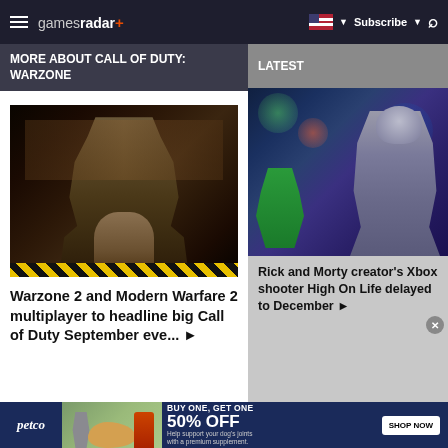gamesradar+ | Subscribe | Search
MORE ABOUT CALL OF DUTY: WARZONE
LATEST
[Figure (photo): Soldier in military gear from Call of Duty: Warzone game]
Warzone 2 and Modern Warfare 2 multiplayer to headline big Call of Duty September eve... ▶
[Figure (photo): Robot and alien character from High On Life Xbox game]
Rick and Morty creator's Xbox shooter High On Life delayed to December ▶
[Figure (photo): Petco advertisement showing person with dog and supplement product. BUY ONE, GET ONE 50% OFF. Help support your dog's joints with a premium supplement. SHOP NOW]